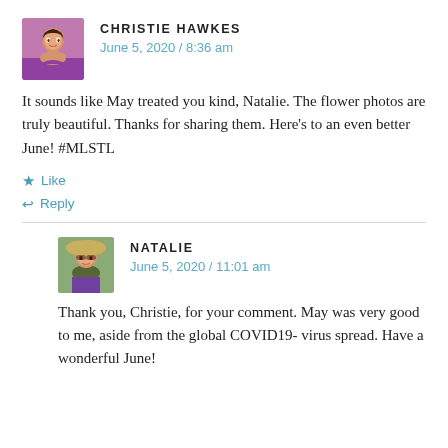[Figure (photo): Profile photo of Christie Hawkes, a woman with dark hair wearing a purple top]
CHRISTIE HAWKES
June 5, 2020 / 8:36 am
It sounds like May treated you kind, Natalie. The flower photos are truly beautiful. Thanks for sharing them. Here's to an even better June! #MLSTL
Like
Reply
[Figure (photo): Profile photo of Natalie, a woman with sunglasses and a hat wearing a purple shirt]
NATALIE
June 5, 2020 / 11:01 am
Thank you, Christie, for your comment. May was very good to me, aside from the global COVID19- virus spread. Have a wonderful June!